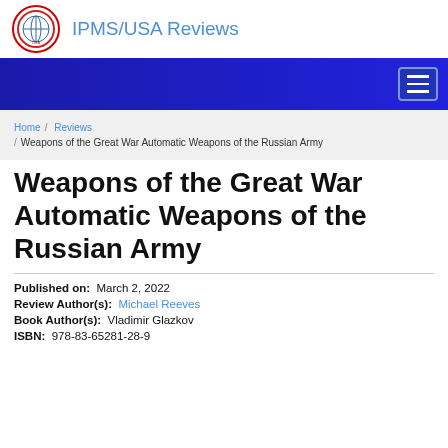IPMS/USA Reviews
Home / Reviews / Weapons of the Great War Automatic Weapons of the Russian Army
Weapons of the Great War Automatic Weapons of the Russian Army
Published on:  March 2, 2022
Review Author(s):  Michael Reeves
Book Author(s):  Vladimir Glazkov
ISBN:  978-83-65281-28-9